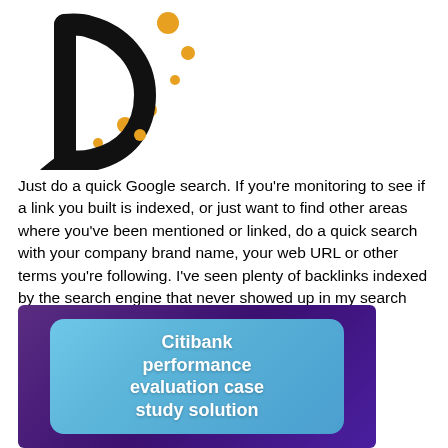[Figure (logo): Stylized letter D logo in black with orange/gold circular dots around it on white background]
Just do a quick Google search. If you're monitoring to see if a link you built is indexed, or just want to find other areas where you've been mentioned or linked, do a quick search with your company brand name, your web URL or other terms you're following. I've seen plenty of backlinks indexed by the search engine that never showed up in my search console account.
[Figure (illustration): Blue rounded rectangle on purple background with white bold text reading 'Citibank performance evaluation case study solution']